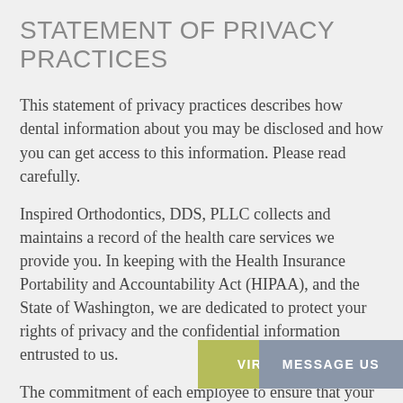STATEMENT OF PRIVACY PRACTICES
This statement of privacy practices describes how dental information about you may be disclosed and how you can get access to this information. Please read carefully.
Inspired Orthodontics, DDS, PLLC collects and maintains a record of the health care services we provide you. In keeping with the Health Insurance Portability and Accountability Act (HIPAA), and the State of Washington, we are dedicated to protect your rights of privacy and the confidential information entrusted to us.
The commitment of each employee to ensure that your health information is never compromised is a...